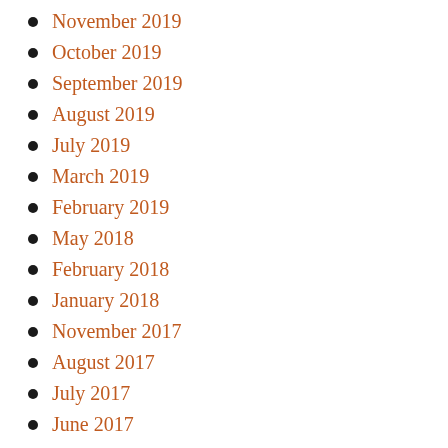November 2019
October 2019
September 2019
August 2019
July 2019
March 2019
February 2019
May 2018
February 2018
January 2018
November 2017
August 2017
July 2017
June 2017
April 2017
March 2017